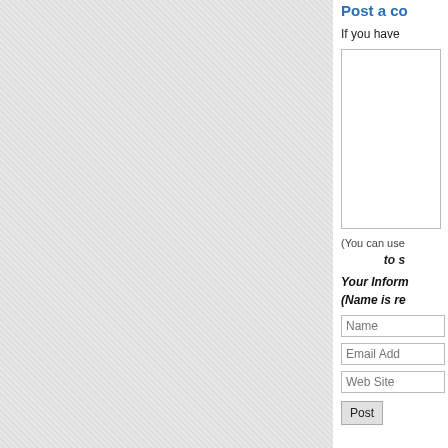[Figure (screenshot): Gray textured left panel of a webpage, showing a content area with a hatched/grid pattern background.]
Post a co
If you have
[Figure (screenshot): Comment textarea input box, white background with border.]
(You can use
to s
Your Inform
(Name is re
[Figure (screenshot): Form fields: Name, Email Address, Web Site inputs and a Post button.]